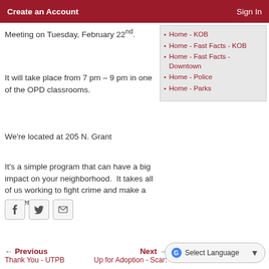Create an Account    Sign In
Meeting on Tuesday, February 22nd.
It will take place from 7 pm – 9 pm in one of the OPD classrooms.
We're located at 205 N. Grant
It's a simple program that can have a big impact on your neighborhood.  It takes all of us working to fight crime and make a difference.
Home - KOB
Home - Fast Facts - KOB
Home - Fast Facts - Downtown
Home - Police
Home - Parks